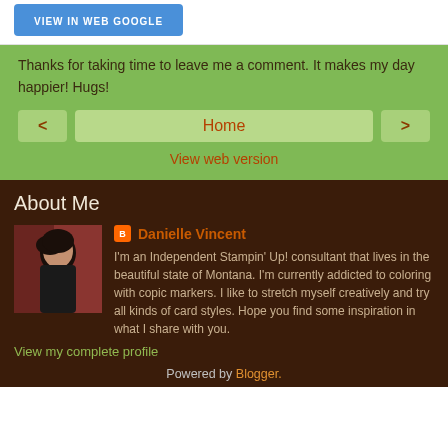[Figure (screenshot): Blue button at top of page (partially visible)]
Thanks for taking time to leave me a comment. It makes my day happier! Hugs!
< Home >
View web version
About Me
[Figure (photo): Profile photo of Danielle Vincent, a woman with dark hair against a red background]
Danielle Vincent
I'm an Independent Stampin' Up! consultant that lives in the beautiful state of Montana. I'm currently addicted to coloring with copic markers. I like to stretch myself creatively and try all kinds of card styles. Hope you find some inspiration in what I share with you.
View my complete profile
Powered by Blogger.